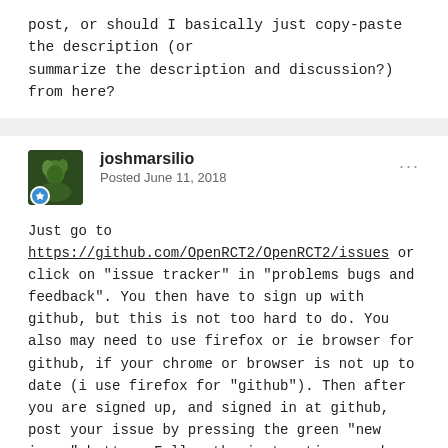post, or should I basically just copy-paste the description (or summarize the description and discussion?) from here?
joshmarsilio
Posted June 11, 2018
Just go to https://github.com/OpenRCT2/OpenRCT2/issues or click on "issue tracker" in "problems bugs and feedback". You then have to sign up with github, but this is not too hard to do. You also may need to use firefox or ie browser for github, if your chrome or browser is not up to date (i use firefox for "github"). Then after you are signed up, and signed in at github, post your issue by pressing the green "new issue" button. Follow the instructions such as giving them the version of openrct2 you are using, and your computer operating system etc. You could then just copy and paste your issue there if you want to, and submit it. That's it.
I'm surprised you got even more glitches by changing to "release" but there is obviously some kind of problem, so telling them at